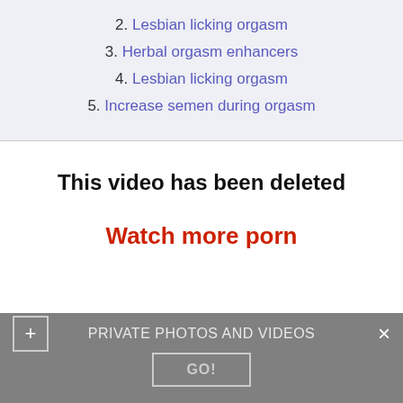2. Lesbian licking orgasm
3. Herbal orgasm enhancers
4. Lesbian licking orgasm
5. Increase semen during orgasm
This video has been deleted
Watch more porn
PRIVATE PHOTOS AND VIDEOS  GO!